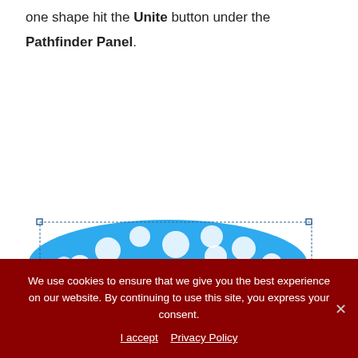one shape hit the Unite button under the Pathfinder Panel.
[Figure (screenshot): Screenshot showing a 3D-looking blue polka-dot rounded shape (united paths result) in Adobe Illustrator, with a bounding box selection visible and the Pathfinder panel partially visible at the bottom.]
We use cookies to ensure that we give you the best experience on our website. By continuing to use this site, you express your consent.
I accept   Privacy Policy